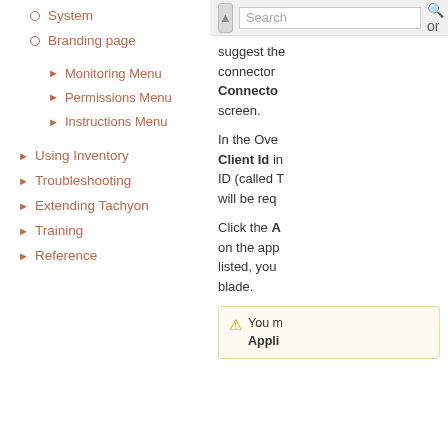System
Branding page
Monitoring Menu
Permissions Menu
Instructions Menu
Using Inventory
Troubleshooting
Extending Tachyon
Training
Reference
suggest the connector... Connector screen.
In the Ove Client Id in ID (called T will be req
Click the A on the app listed, you blade.
You m Appli